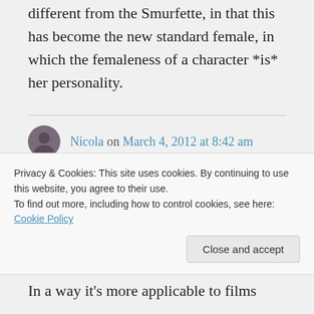different from the Smurfette, in that this has become the new standard female, in which the femaleness of a character *is* her personality.
Nicola on March 4, 2012 at 8:42 am
Oh, and this article is great for explaining the problem of 'Strong
Privacy & Cookies: This site uses cookies. By continuing to use this website, you agree to their use.
To find out more, including how to control cookies, see here: Cookie Policy
Close and accept
In a way it's more applicable to films